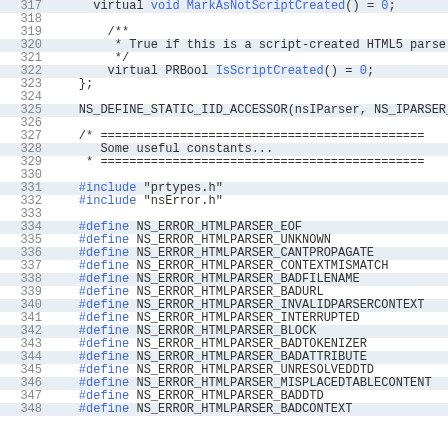Code listing lines 317-348 showing C++ parser interface definitions and #define constants for NS_ERROR_HTMLPARSER error codes